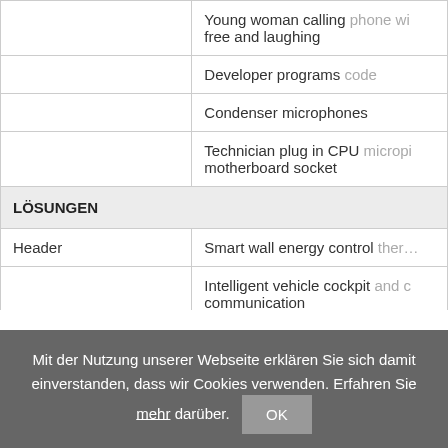|  |  |
| --- | --- |
|  | Young woman calling phone wi…
free and laughing |
|  | Developer programs code… |
|  | Condenser microphones |
|  | Technician plug in CPU microp…
motherboard socket |
| LÖSUNGEN |  |
| Header | Smart wall energy control ther… |
|  | Intelligent vehicle cockpit and c…
communication |
Mit der Nutzung unserer Webseite erklären Sie sich damit einverstanden, dass wir Cookies verwenden. Erfahren Sie mehr darüber. OK